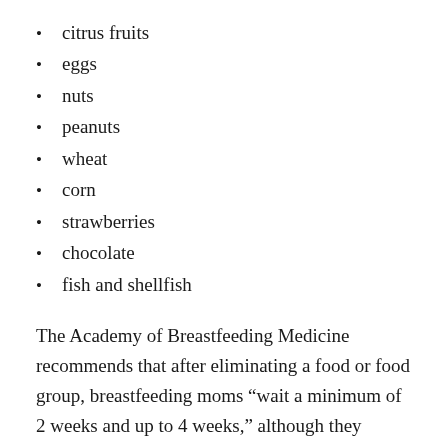citrus fruits
eggs
nuts
peanuts
wheat
corn
strawberries
chocolate
fish and shellfish
The Academy of Breastfeeding Medicine recommends that after eliminating a food or food group, breastfeeding moms “wait a minimum of 2 weeks and up to 4 weeks,” although they should see improvement much sooner, within 2 to 3 days.